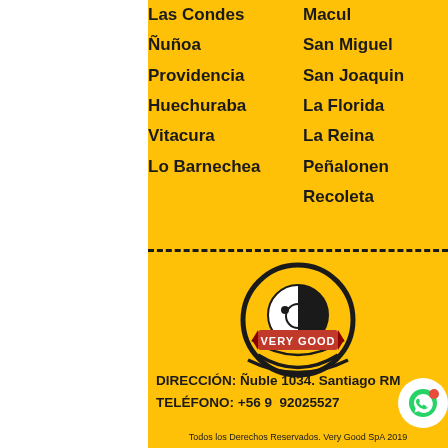Las Condes
Ñuñoa
Providencia
Huechuraba
Vitacura
Lo Barnechea
Macul
San Miguel
San Joaquin
La Florida
La Reina
Peñalonen
Recoleta
[Figure (logo): Very Good company logo: circular emblem with smiley face, black and white design, red banner with VERY GOOD text]
DIRECCIÓN: Ñuble 1034. Santiago RM
TELÉFONO: +56 9  92025527
Todos los Derechos Reservados. Very Good SpA 2019